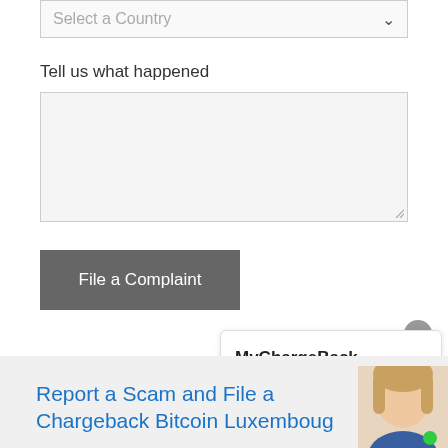Select a Country
Tell us what happened
File a Complaint
reviews_2022
MyChargeBack Verification Chat
Report a Scam and File a Chargeback Bitcoin Luxembourg